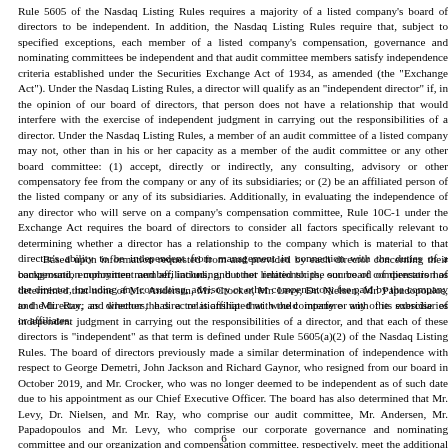Rule 5605 of the Nasdaq Listing Rules requires a majority of a listed company's board of directors to be independent. In addition, the Nasdaq Listing Rules require that, subject to specified exceptions, each member of a listed company's compensation, governance and nominating committees be independent and that audit committee members satisfy independence criteria established under the Securities Exchange Act of 1934, as amended (the "Exchange Act"). Under the Nasdaq Listing Rules, a director will qualify as an "independent director" if, in the opinion of our board of directors, that person does not have a relationship that would interfere with the exercise of independent judgment in carrying out the responsibilities of a director. Under the Nasdaq Listing Rules, a member of an audit committee of a listed company may not, other than in his or her capacity as a member of the audit committee or any other board committee: (1) accept, directly or indirectly, any consulting, advisory or other compensatory fee from the company or any of its subsidiaries; or (2) be an affiliated person of the listed company or any of its subsidiaries. Additionally, in evaluating the independence of any director who will serve on a company's compensation committee, Rule 10C-1 under the Exchange Act requires the board of directors to consider all factors specifically relevant to determining whether a director has a relationship to the company which is material to that director's ability to be independent from management in connection with the duties of a compensation committee member, including, but not limited to: the source of compensation of the director, including any consulting, advisory or other compensatory fee paid by the company to the director; and whether the director is affiliated with the company or any of its subsidiaries or affiliates.
Based upon information requested from and provided by each director concerning their background, employment and affiliations, and other relationships, our board of directors has determined that none of Mr. Andersen, Mr. Crocker, Mr. Levy, Dr. Nielsen, Mr. Papadopoulos, and Mr. Ray, as directors, has a relationship that would interfere with the exercise of independent judgment in carrying out the responsibilities of a director, and that each of these directors is "independent" as that term is defined under Rule 5605(a)(2) of the Nasdaq Listing Rules. The board of directors previously made a similar determination of independence with respect to George Demetri, John Jackson and Richard Gaynor, who resigned from our board in October 2019, and Mr. Crocker, who was no longer deemed to be independent as of such date due to his appointment as our Chief Executive Officer. The board has also determined that Mr. Levy, Dr. Nielsen, and Mr. Ray, who comprise our audit committee, Mr. Andersen, Mr. Papadopoulos and Mr. Levy, who comprise our corporate governance and nominating committee and our organization and compensation committee, respectively, meet the additional independence requirements for such committees established by the SEC and the Nasdaq Listing Rules, as applicable. In reaching these conclusions, the board considered the nature of the relationships that each such non-employee director has with Merrimack, including those described under "Certain Relationships and Related Party Transactions," and all other facts and circumstances our board of directors deemed relevant.
6